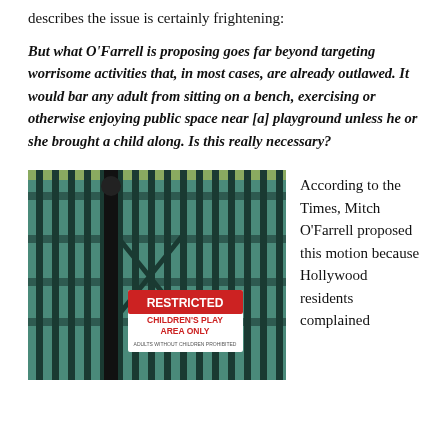describes the issue is certainly frightening:
But what O'Farrell is proposing goes far beyond targeting worrisome activities that, in most cases, are already outlawed. It would bar any adult from sitting on a bench, exercising or otherwise enjoying public space near [a] playground unless he or she brought a child along. Is this really necessary?
[Figure (photo): A metal playground fence with vertical bars painted dark green/black, with a red and white sign reading 'RESTRICTED CHILDREN'S PLAY AREA ONLY' attached to the gate. Trees and a pathway are visible in the background through the fence.]
According to the Times, Mitch O'Farrell proposed this motion because Hollywood residents complained